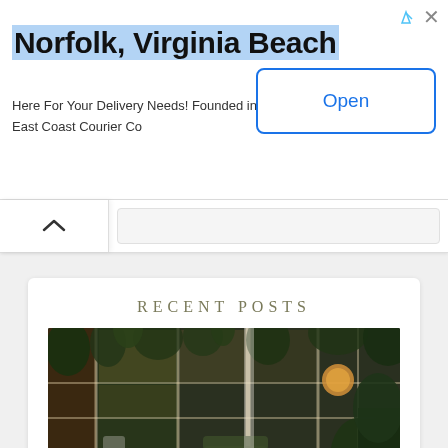[Figure (screenshot): Advertisement banner for East Coast Courier Co, Norfolk, Virginia Beach delivery service. Contains title, description text, and an Open button.]
Norfolk, Virginia Beach
Here For Your Delivery Needs! Founded in 1999
East Coast Courier Co
[Figure (screenshot): Navigation bar with up chevron icon and search input field]
RECENT POSTS
[Figure (photo): Interior of a stylish restaurant with large industrial-style windows, lush green plants, and café seating with chairs and tables]
[Figure (photo): Close-up photo of a food dish with eggs, banana leaves, and mango]